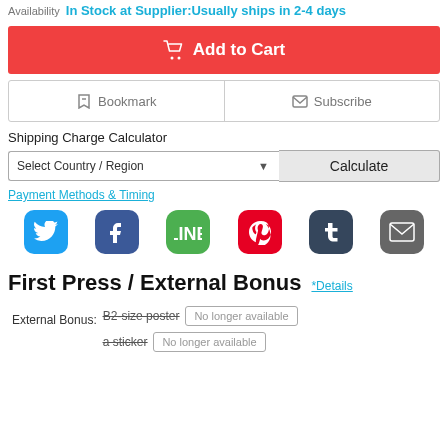Availability  In Stock at Supplier:Usually ships in 2-4 days
Add to Cart
Bookmark  Subscribe
Shipping Charge Calculator
Select Country / Region  Calculate
Payment Methods & Timing
[Figure (illustration): Social media share icons: Twitter, Facebook, Line, Pinterest, Tumblr, Email]
First Press / External Bonus  *Details
External Bonus: B2-size poster [No longer available] a sticker [No longer available]